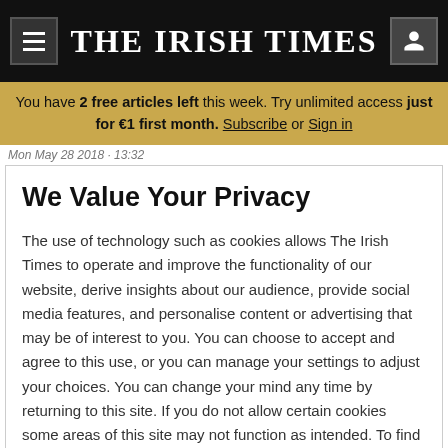THE IRISH TIMES
You have 2 free articles left this week. Try unlimited access just for €1 first month. Subscribe or Sign in
Mon May 28 2018 · 13:32
We Value Your Privacy
The use of technology such as cookies allows The Irish Times to operate and improve the functionality of our website, derive insights about our audience, provide social media features, and personalise content or advertising that may be of interest to you. You can choose to accept and agree to this use, or you can manage your settings to adjust your choices. You can change your mind any time by returning to this site. If you do not allow certain cookies some areas of this site may not function as intended. To find out more please